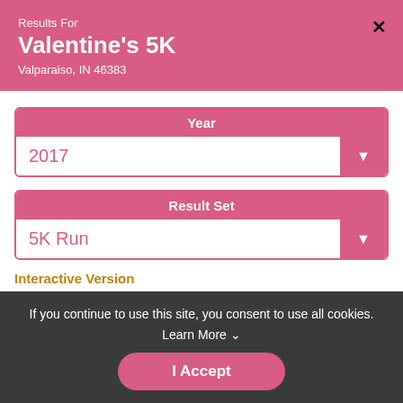Results For
Valentine's 5K
Valparaiso, IN 46383
Year
2017
Result Set
5K Run
Interactive Version
| Place | Bib | Name | Gender | City |
| --- | --- | --- | --- | --- |
| ===== | ==== | ============================ | ====== | ======== |
| 1 | 1843 | Collin Huber | M | Valparai |
| 2 | 1813 | Nate Smith | M | Valparai |
If you continue to use this site, you consent to use all cookies.
Learn More ˅
I Accept